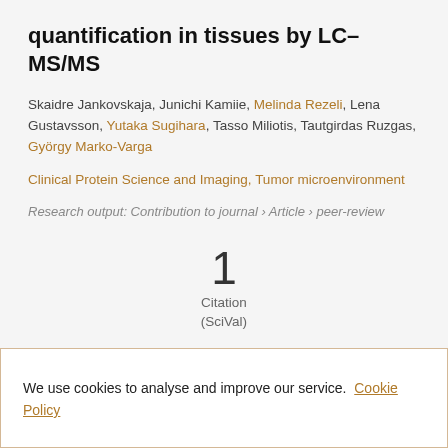quantification in tissues by LC–MS/MS
Skaidre Jankovskaja, Junichi Kamiie, Melinda Rezeli, Lena Gustavsson, Yutaka Sugihara, Tasso Miliotis, Tautgirdas Ruzgas, György Marko-Varga
Clinical Protein Science and Imaging, Tumor microenvironment
Research output: Contribution to journal › Article › peer-review
1
Citation
(SciVal)
We use cookies to analyse and improve our service. Cookie Policy